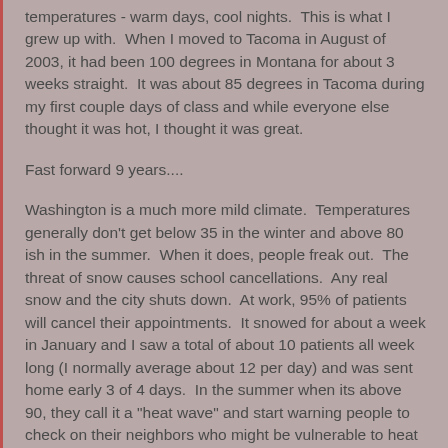temperatures - warm days, cool nights.  This is what I grew up with.  When I moved to Tacoma in August of 2003, it had been 100 degrees in Montana for about 3 weeks straight.  It was about 85 degrees in Tacoma during my first couple days of class and while everyone else thought it was hot, I thought it was great.
Fast forward 9 years....
Washington is a much more mild climate.  Temperatures generally don't get below 35 in the winter and above 80 ish in the summer.  When it does, people freak out.  The threat of snow causes school cancellations.  Any real snow and the city shuts down.  At work, 95% of patients will cancel their appointments.  It snowed for about a week in January and I saw a total of about 10 patients all week long (I normally average about 12 per day) and was sent home early 3 of 4 days.  In the summer when its above 90, they call it a "heat wave" and start warning people to check on their neighbors who might be vulnerable to heat stroke.  Hotels with air conditioning will be booked out.  They keep libraries open extra hours so people can "escape the heat".  Granted, very